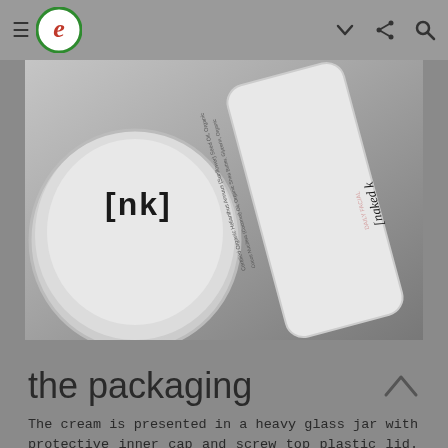e (logo) ≡ ∨ ⋮ 🔍
[Figure (photo): Close-up photo of skincare products: a round white jar with [nk] branding on the lid, and a white tube labeled 'naked' with ingredients list visible, placed on a grey surface.]
the packaging
The cream is presented in a heavy glass jar with protective inner cap and screw top plastic lid. It is encased